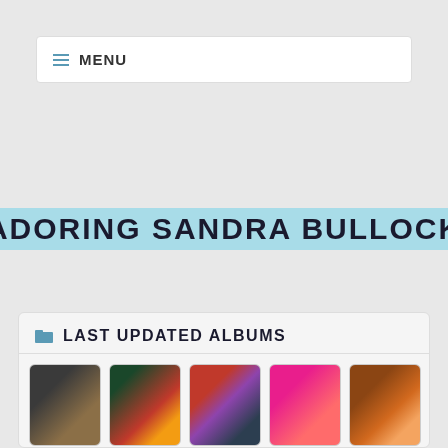≡ MENU
ADORING SANDRA BULLOCK
HOME - LOGIN - ALBUM LIST - LAST UPLOADS - LAST COMMENTS - MOST VIEWED - TOP RATED - MY FAVORITES - SEARCH
LAST UPDATED ALBUMS
[Figure (photo): Six thumbnail photos of Sandra Bullock and others at various events]